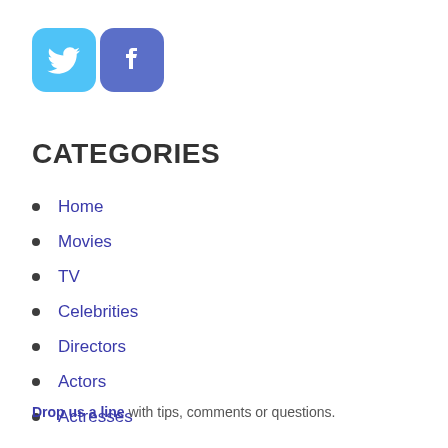[Figure (logo): Twitter and Facebook social media icons with rounded square backgrounds — Twitter icon in light blue, Facebook icon in blue-purple]
CATEGORIES
Home
Movies
TV
Celebrities
Directors
Actors
Actresses
Drop us a line with tips, comments or questions.